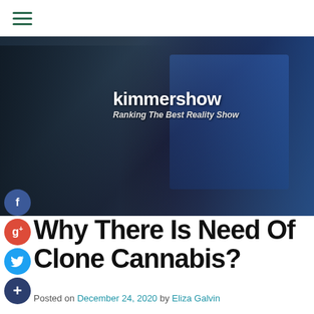kimmershow — Ranking The Best Reality Show
[Figure (photo): A man with headphones and glasses sitting at a desk working on video editing software displayed on multiple monitors in a dark studio environment. Overlaid with the kimmershow brand name and tagline 'Ranking The Best Reality Show'.]
Why There Is Need Of Clone Cannabis?
Posted on December 24, 2020 by Eliza Galvin